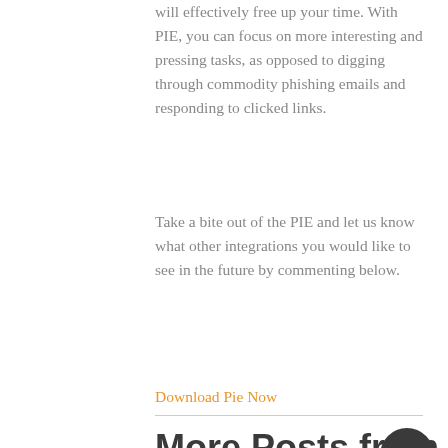will effectively free up your time. With PIE, you can focus on more interesting and pressing tasks, as opposed to digging through commodity phishing emails and responding to clicked links.
Take a bite out of the PIE and let us know what other integrations you would like to see in the future by commenting below.
Download Pie Now
More Posts from Greg